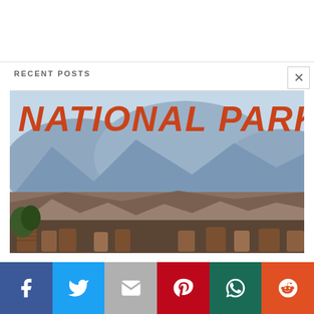RECENT POSTS
[Figure (photo): National Parks promotional image showing bold orange-red italic text 'NATIONAL PARKS' overlaid on a photo of mountain canyon landscape (Grand Canyon style) with Adirondack chairs in the foreground and layered buttes in the background under a hazy blue sky.]
[Figure (infographic): Social media share bar with icons for Facebook (blue), Twitter (light blue), Gmail/Mail (gray), Pinterest (red), WhatsApp (dark teal/green), and Reddit (orange)]